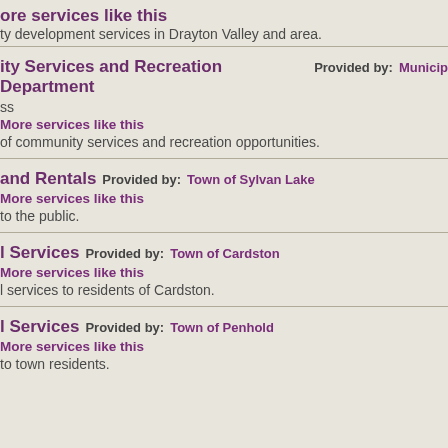more services like this
ty development services in Drayton Valley and area.
ity Services and Recreation Department   Provided by:  Municip
ss
More services like this
of community services and recreation opportunities.
and Rentals   Provided by:  Town of Sylvan Lake
More services like this
to the public.
l Services   Provided by:  Town of Cardston
More services like this
l services to residents of Cardston.
l Services   Provided by:  Town of Penhold
More services like this
to town residents.